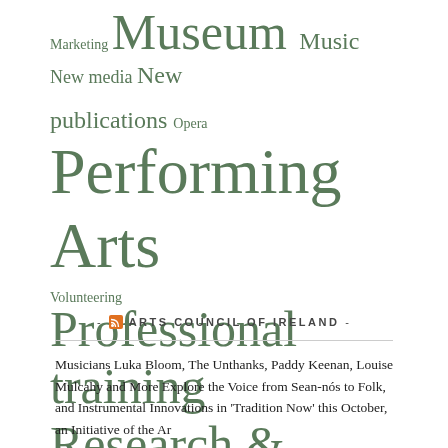Marketing Museum Music New media New publications Opera Performing Arts Professional training Research & Resources Techonology Theatre Tourism Uncategorized Visual Arts Volunteering
- ARTS COUNCIL OF IRELAND -
Musicians Luka Bloom, The Unthanks, Paddy Keenan, Louise Mulcahy and More Explore the Voice from Sean-nós to Folk, and Instrumental Innovations in 'Tradition Now' this October, an Initiative of the Ar